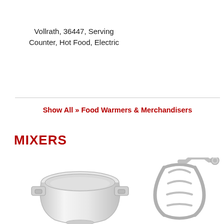Vollrath, 36447, Serving Counter, Hot Food, Electric
Show All » Food Warmers & Merchandisers
MIXERS
[Figure (photo): Stainless steel mixer bowl with two handles]
[Figure (photo): Gray flat beater / pastry knife mixer attachment]